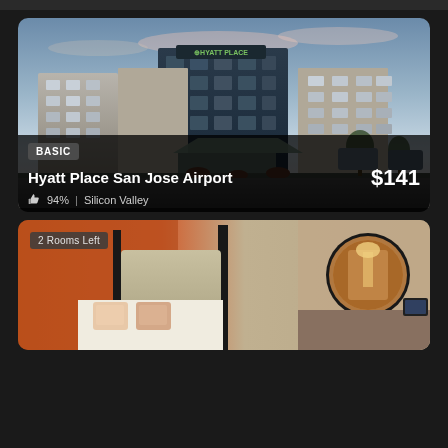[Figure (photo): Hyatt Place San Jose Airport hotel exterior photo showing modern multi-story building with glass facade and 'Hyatt Place' signage, at dusk with pink/blue sky]
BASIC
Hyatt Place San Jose Airport
$141
94% | Silicon Valley
[Figure (photo): Hotel room interior photo showing bed with orange/peach pillows, upholstered headboard, and round mirror on wall]
2 Rooms Left